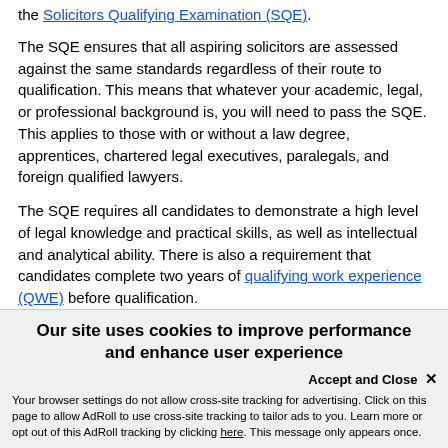the Solicitors Qualifying Examination (SQE).
The SQE ensures that all aspiring solicitors are assessed against the same standards regardless of their route to qualification. This means that whatever your academic, legal, or professional background is, you will need to pass the SQE. This applies to those with or without a law degree, apprentices, chartered legal executives, paralegals, and foreign qualified lawyers.
The SQE requires all candidates to demonstrate a high level of legal knowledge and practical skills, as well as intellectual and analytical ability. There is also a requirement that candidates complete two years of qualifying work experience (QWE) before qualification.
Our site uses cookies to improve performance and enhance user experience
Accept and Close ×
Your browser settings do not allow cross-site tracking for advertising. Click on this page to allow AdRoll to use cross-site tracking to tailor ads to you. Learn more or opt out of this AdRoll tracking by clicking here. This message only appears once.